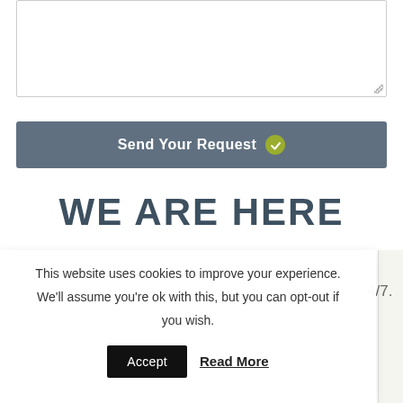[Figure (screenshot): A textarea input box with resize handle in bottom-right corner, partially visible at top of page.]
[Figure (screenshot): A 'Send Your Request' button with a green checkmark circle icon, styled in slate blue/grey color.]
WE ARE HERE
This website uses cookies to improve your experience. We'll assume you're ok with this, but you can opt-out if you wish.
Accept  Read More
4/7.